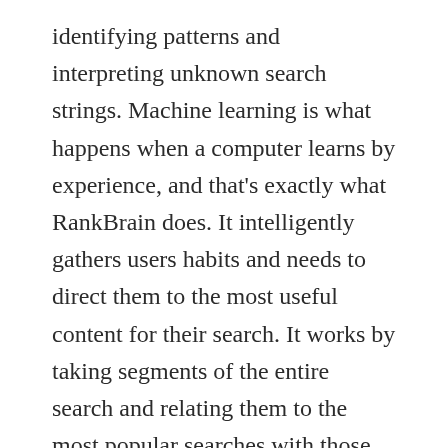identifying patterns and interpreting unknown search strings. Machine learning is what happens when a computer learns by experience, and that's exactly what RankBrain does. It intelligently gathers users habits and needs to direct them to the most useful content for their search. It works by taking segments of the entire search and relating them to the most popular searches with those related terms, and as people click on their desired result, RankBrain grows in its search knowledge. RankBrain affects how Google ranks search results. It learns which results are relevant